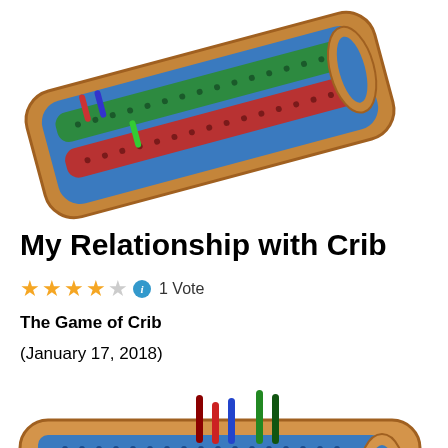[Figure (photo): Cribbage board viewed from above at an angle, showing red, blue, and green peg tracks on a wooden board with colorful pegs inserted]
My Relationship with Crib
★★★★☆ ℹ 1 Vote
The Game of Crib
(January 17, 2018)
[Figure (photo): Cribbage board viewed from the side/front, showing red, green, and blue peg tracks on a wooden board with multiple colored pegs inserted]